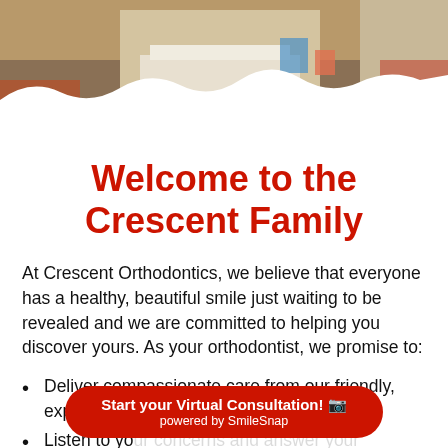[Figure (photo): Photo of a dental/orthodontics office interior with reception desk, wooden floor, and dental equipment visible. White wave/splatter graphic overlays the bottom of the image.]
Welcome to the Crescent Family
At Crescent Orthodontics, we believe that everyone has a healthy, beautiful smile just waiting to be revealed and we are committed to helping you discover yours. As your orthodontist, we promise to:
Deliver compassionate care from our friendly, exp...
Listen to yo...
Start your Virtual Consultation! 📷
powered by SmileSnap